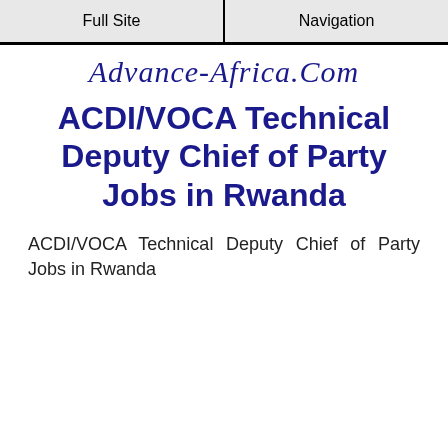Full Site | Navigation
[Figure (logo): Advance-Africa.Com logo in italic navy/dark blue script font]
ACDI/VOCA Technical Deputy Chief of Party Jobs in Rwanda
ACDI/VOCA Technical Deputy Chief of Party Jobs in Rwanda